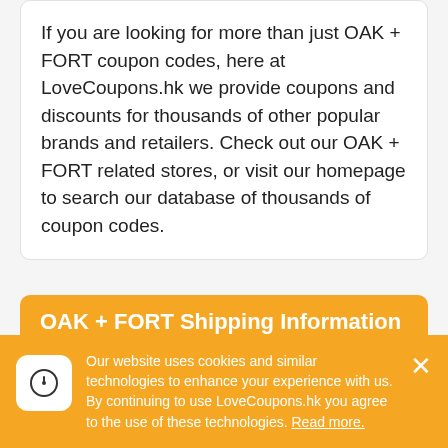If you are looking for more than just OAK + FORT coupon codes, here at LoveCoupons.hk we provide coupons and discounts for thousands of other popular brands and retailers. Check out our OAK + FORT related stores, or visit our homepage to search our database of thousands of coupon codes.
OAK + FORT Shipping Information
OAK + FORT ships to Australia, New Zealand, United Kingdom, Ireland, Singapore, Hong Kong, UAE, Canada, USA, Austria, Belgium,
Our website uses cookies and similar technologies to enhance your experience with us. By continuing to use LoveCoupons.hk you agree to the use of these technologies. Read more.